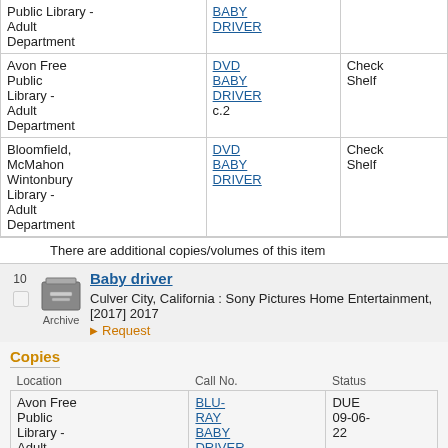| Location | Call No. | Status |
| --- | --- | --- |
| Public Library - Adult Department | BABY DRIVER |  |
| Avon Free Public Library - Adult Department | DVD BABY DRIVER c.2 | Check Shelf |
| Bloomfield, McMahon Wintonbury Library - Adult Department | DVD BABY DRIVER | Check Shelf |
There are additional copies/volumes of this item
10
Baby driver
Culver City, California : Sony Pictures Home Entertainment, [2017] 2017
Request
Copies
| Location | Call No. | Status |
| --- | --- | --- |
| Avon Free Public Library - Adult Department | BLU-RAY BABY DRIVER | DUE 09-06-22 |